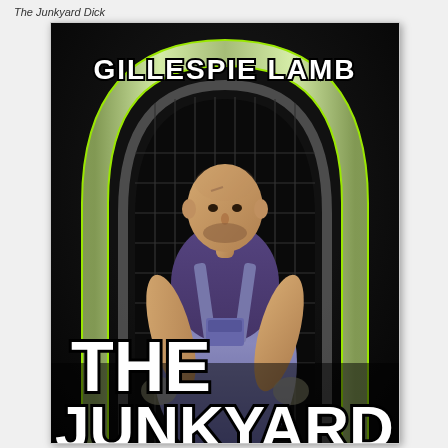The Junkyard Dick
[Figure (photo): Book cover for 'The Junkyard Dick' by Gillespie Lamb. A bald muscular man wearing overalls and a purple t-shirt stands in front of a dark industrial background featuring a chrome and neon green arch structure. The author name 'GILLESPIE LAMB' appears at the top in bold white text, and the partial title 'THE JUNKYARD' is visible at the bottom in large bold white text.]